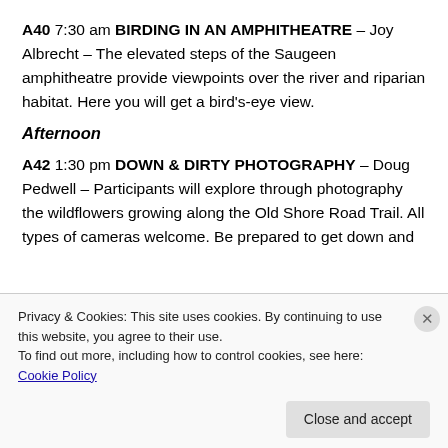A40 7:30 am BIRDING IN AN AMPHITHEATRE – Joy Albrecht – The elevated steps of the Saugeen amphitheatre provide viewpoints over the river and riparian habitat. Here you will get a bird's-eye view.
Afternoon
A42 1:30 pm DOWN & DIRTY PHOTOGRAPHY – Doug Pedwell – Participants will explore through photography the wildflowers growing along the Old Shore Road Trail. All types of cameras welcome. Be prepared to get down and di…
Privacy & Cookies: This site uses cookies. By continuing to use this website, you agree to their use.
To find out more, including how to control cookies, see here: Cookie Policy
Close and accept